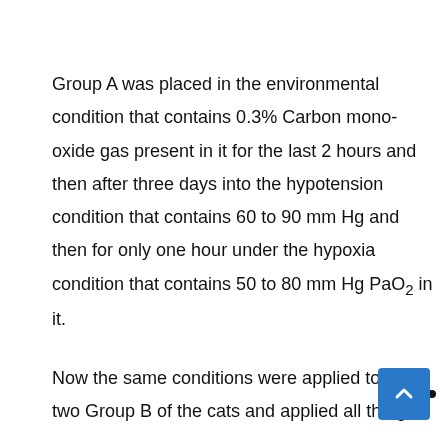Group A was placed in the environmental condition that contains 0.3% Carbon mono-oxide gas present in it for the last 2 hours and then after three days into the hypotension condition that contains 60 to 90 mm Hg and then for only one hour under the hypoxia condition that contains 50 to 80 mm Hg PaO₂ in it.
Now the same conditions were applied to the two Group B of the cats and applied all the gas...